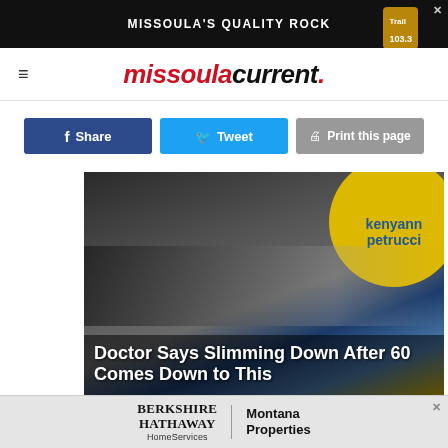[Figure (other): Top banner advertisement: Missoula's Quality Rock Shop with Trail 103.3 logo, on dark background with colorful rock/mineral image]
missoula current.
[Figure (other): Social sharing buttons: Facebook Share (dark blue), Twitter Tweet (light blue), Print this page (gray)]
[Figure (photo): Photo of women on a TV show set with yellow circle logo reading 'kenyann petrucci'. Overlaid title text: Doctor Says Slimming Down After 60 Comes Down to This]
Doctor Says Slimming Down After 60 Comes Down to This
[Figure (other): Bottom advertisement: Berkshire Hathaway HomeServices | Montana Properties]